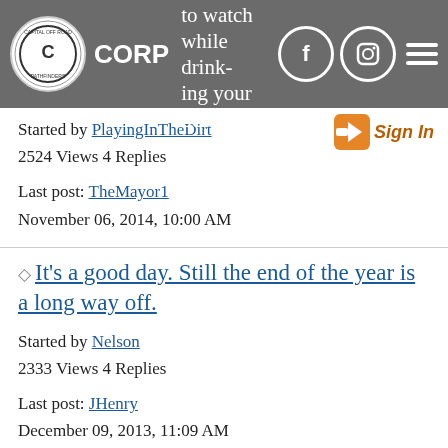CORP - something to watch while drinking your beer...
Started by PlayingInTheDirt
2524 Views 4 Replies
Last post: TheMayor1
November 06, 2014, 10:00 AM
It's a good day. Still the end of the year is a long way off.
Started by Nelson
2333 Views 4 Replies
Last post: JHenry
December 09, 2013, 11:09 AM
Cool vid from Norco!